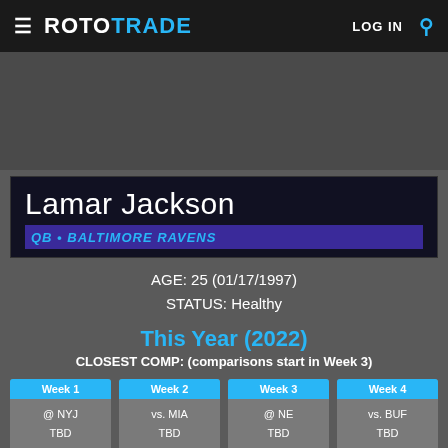ROTOTRADE | LOG IN
[Figure (other): Advertisement banner area - dark gray rectangle]
Lamar Jackson
QB • BALTIMORE RAVENS
AGE: 25 (01/17/1997)
STATUS: Healthy
This Year (2022)
CLOSEST COMP: (comparisons start in Week 3)
| Week 1 | Week 2 | Week 3 | Week 4 |
| --- | --- | --- | --- |
| @ NYJ | vs. MIA | @ NE | vs. BUF |
| TBD | TBD | TBD | TBD |